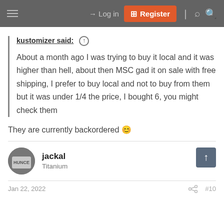Log in | Register
kustomizer said: ↑

About a month ago I was trying to buy it local and it was higher than hell, about then MSC gad it on sale with free shipping, I prefer to buy local and not to buy from them but it was under 1/4 the price, I bought 6, you might check them
They are currently backordered 😊
jackal
Titanium
Jan 22, 2022  #10